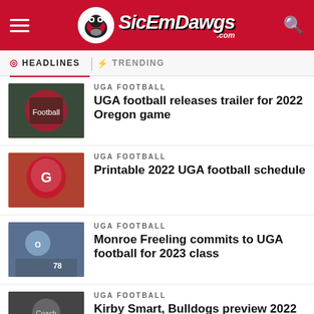SicEmDawgs.com
HEADLINES | TRENDING
UGA FOOTBALL — UGA football releases trailer for 2022 Oregon game
UGA FOOTBALL — Printable 2022 UGA football schedule
UGA FOOTBALL — Monroe Freeling commits to UGA football for 2023 class
UGA FOOTBALL — Kirby Smart, Bulldogs preview 2022 Oregon football game